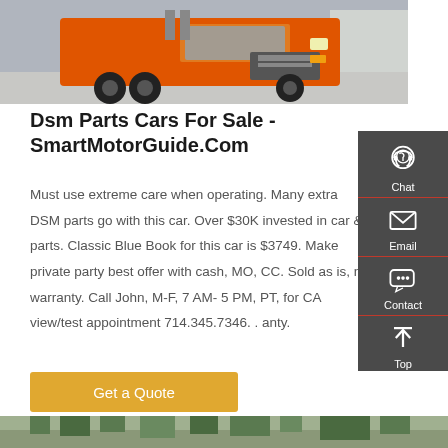[Figure (photo): Orange heavy-duty truck cab on a concrete lot, photographed from the front-left angle.]
Dsm Parts Cars For Sale - SmartMotorGuide.Com
Must use extreme care when operating. Many extra DSM parts go with this car. Over $30K invested in car & parts. Classic Blue Book for this car is $3749. Make private party best offer with cash, MO, CC. Sold as is, no warranty. Call John, M-F, 7 AM- 5 PM, PT, for CA view/test appointment 714.345.7346. . anty.
[Figure (other): Sidebar panel with dark background containing Chat (headset icon), Email (envelope icon), Contact (speech bubble icon), and Top (arrow icon) buttons.]
Get a Quote
[Figure (photo): Partial bottom image showing trees and a roadway scene.]